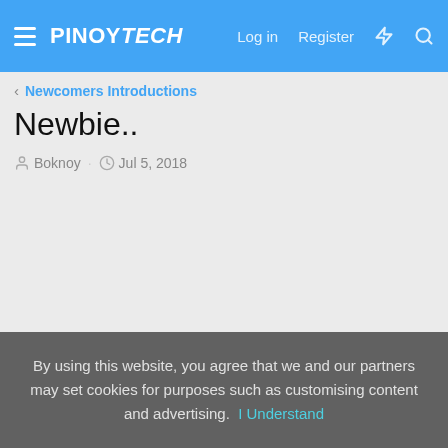PINOYTECH — Log in | Register
< Newcomers Introductions
Newbie..
Boknoy · Jul 5, 2018
By using this website, you agree that we and our partners may set cookies for purposes such as customising content and advertising.  I Understand